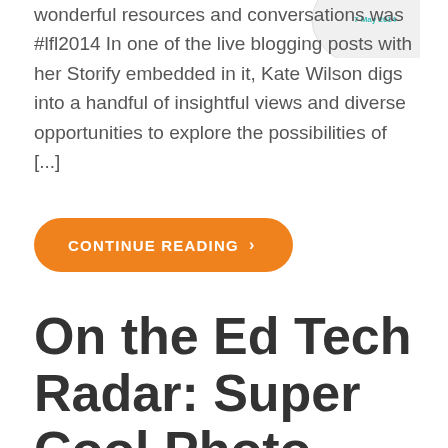[Figure (screenshot): Partial circular screenshot of a webpage or social media post with teal/cyan text reading '7 May 2014']
wonderful resources and conversations was #lfl2014 In one of the live blogging posts with her Storify embedded in it, Kate Wilson digs into a handful of insightful views and diverse opportunities to explore the possibilities of [...]
CONTINUE READING >
On the Ed Tech Radar: Super Cool Photo Editor